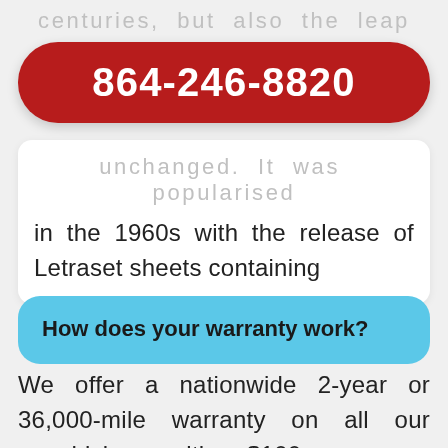centuries, but also the leap
864-246-8820
unchanged. It was popularised in the 1960s with the release of Letraset sheets containing
How does your warranty work?
We offer a nationwide 2-year or 36,000-mile warranty on all our vehicles with $100